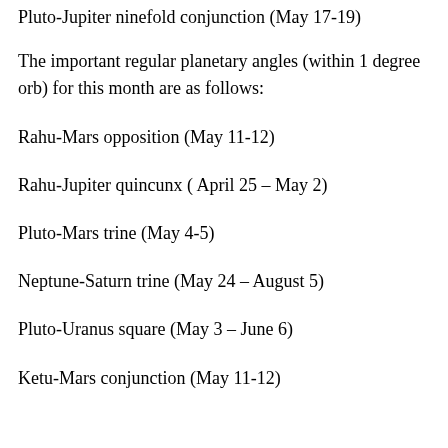Pluto-Jupiter ninefold conjunction (May 17-19)
The important regular planetary angles (within 1 degree orb) for this month are as follows:
Rahu-Mars opposition (May 11-12)
Rahu-Jupiter quincunx ( April 25 – May 2)
Pluto-Mars trine (May 4-5)
Neptune-Saturn trine (May 24 – August 5)
Pluto-Uranus square (May 3 – June 6)
Ketu-Mars conjunction (May 11-12)